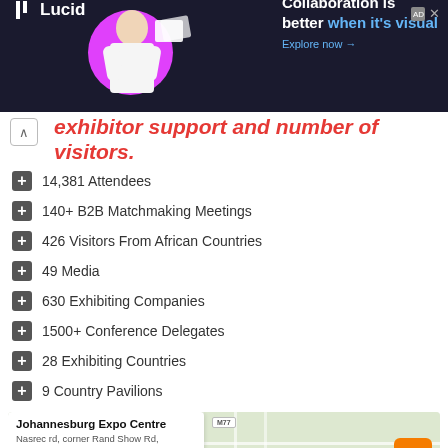[Figure (screenshot): Lucid advertisement banner with dark background, woman image, pink circle, and text 'Collaboration is better when it's visual. Explore now →']
exhibitor support and number of visitors.
14,381 Attendees
140+ B2B Matchmaking Meetings
426 Visitors From African Countries
49 Media
630 Exhibiting Companies
1500+ Conference Delegates
28 Exhibiting Countries
9 Country Pavilions
[Figure (map): Map showing Johannesburg Expo Centre location with address card: 'Johannesburg Expo Centre, Nasrec rd, corner Rand Show Rd, Nasrec, Johannesburg, 2091, South Africa']